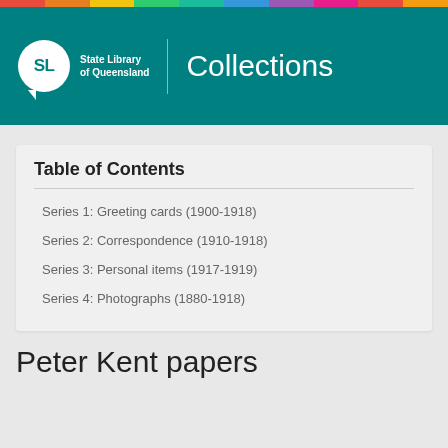[Figure (logo): State Library of Queensland logo with SL in speech bubble and 'Collections' text header banner in teal]
Table of Contents
Series 1: Greeting cards (1900-1918)
Series 2: Correspondence (1910-1918)
Series 3: Personal items (1917-1919)
Series 4: Photographs (1880-1918)
Peter Kent papers